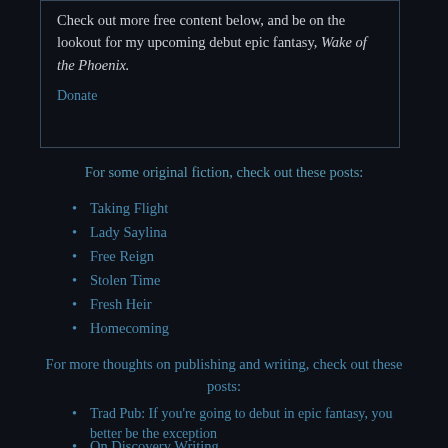Check out more free content below, and be on the lookout for my upcoming debut epic fantasy, Wake of the Phoenix.
Donate
For some original fiction, check out these posts:
Taking Flight
Lady Saylina
Free Reign
Stolen Time
Fresh Heir
Homecoming
For more thoughts on publishing and writing, check out these posts:
Trad Pub: If you're going to debut in epic fantasy, you better be the exception
On Discovery Writing